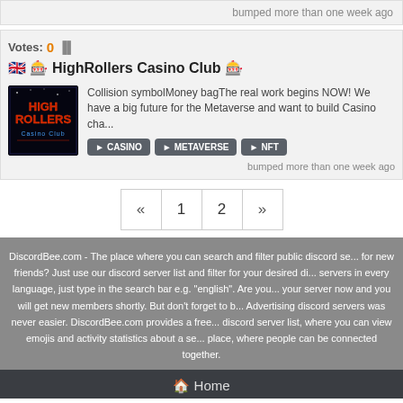bumped more than one week ago
Votes: 0
🇬🇧 🎰 HighRollers Casino Club 🎰
[Figure (logo): HighRollers Casino Club logo — dark background with red and blue neon text]
Collision symbolMoney bagThe real work begins NOW! We have a big future for the Metaverse and want to build Casino cha...
CASINO
METAVERSE
NFT
bumped more than one week ago
« 1 2 »
DiscordBee.com - The place where you can search and filter public discord se... for new friends? Just use our discord server list and filter for your desired di... servers in every language, just type in the search bar e.g. "english". Are you... your server now and you will get new members shortly. But don't forget to b... Advertising discord servers was never easier. DiscordBee.com provides a free... discord server list, where you can view emojis and activity statistics about a se... place, where people can be connected together.
🏠 Home